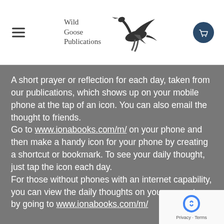[Figure (logo): Wild Goose Publications logo with flying goose illustration and text 'Wild Goose Publications']
A short prayer or reflection for each day, taken from our publications, which shows up on your mobile phone at the tap of an icon. You can also email the thought to friends.
Go to www.ionabooks.com/m/ on your phone and then make a handy icon for your phone by creating a shortcut or bookmark. To see your daily thought, just tap the icon each day.
For those without phones with an internet capability, you can view the daily thoughts on your computer by going to www.ionabooks.com/m/